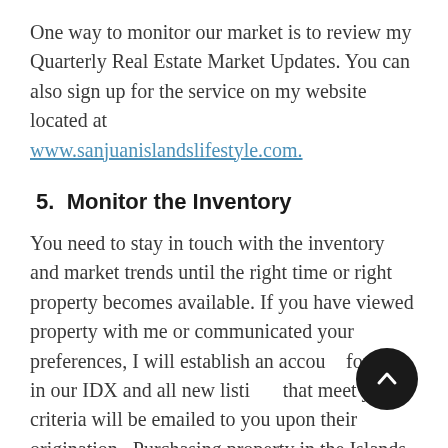One way to monitor our market is to review my Quarterly Real Estate Market Updates. You can also sign up for the service on my website located at www.sanjuanislandslifestyle.com.
5.  Monitor the Inventory
You need to stay in touch with the inventory and market trends until the right time or right property becomes available. If you have viewed property with me or communicated your preferences, I will establish an account for you in our IDX and all new listings that meet your criteria will be emailed to you upon their origination.  Purchasing property in the Islands can be a one day or ten year process – which is totally